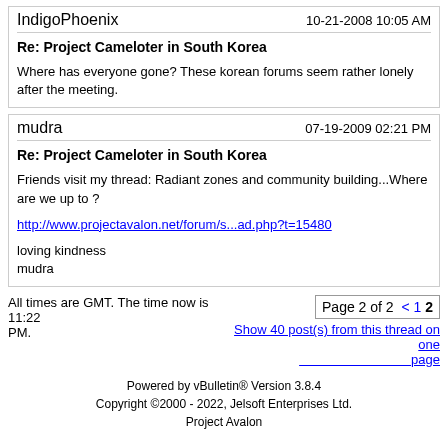IndigoPhoenix — 10-21-2008 10:05 AM
Re: Project Cameloter in South Korea
Where has everyone gone? These korean forums seem rather lonely after the meeting.
mudra — 07-19-2009 02:21 PM
Re: Project Cameloter in South Korea
Friends visit my thread: Radiant zones and community building...Where are we up to ?
http://www.projectavalon.net/forum/s...ad.php?t=15480
loving kindness
mudra
All times are GMT. The time now is 11:22 PM.
Page 2 of 2 < 1 2
Show 40 post(s) from this thread on one page
Powered by vBulletin® Version 3.8.4
Copyright ©2000 - 2022, Jelsoft Enterprises Ltd.
Project Avalon